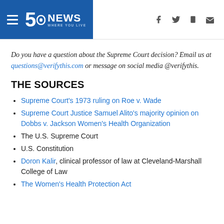5 News WHERE YOU LIVE
Do you have a question about the Supreme Court decision? Email us at questions@verifythis.com or message on social media @verifythis.
THE SOURCES
Supreme Court’s 1973 ruling on Roe v. Wade
Supreme Court Justice Samuel Alito’s majority opinion on Dobbs v. Jackson Women’s Health Organization
The U.S. Supreme Court
U.S. Constitution
Doron Kalir, clinical professor of law at Cleveland-Marshall College of Law
The Women’s Health Protection Act